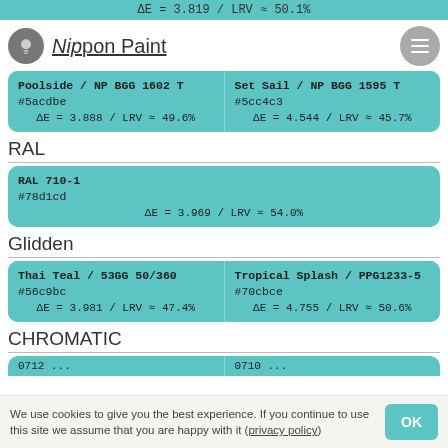ΔE = 3.819 / LRV ≈ 50.1%
Nippon Paint
| Color 1 | Color 2 |
| --- | --- |
| Poolside / NP BGG 1602 T
#5acdbe
ΔE = 3.888 / LRV ≈ 49.6% | Set Sail / NP BGG 1595 T
#5cc4c3
ΔE = 4.544 / LRV ≈ 45.7% |
RAL
| Color |
| --- |
| RAL 710-1
#78d1cd
ΔE = 3.969 / LRV ≈ 54.0% |
Glidden
| Color 1 | Color 2 |
| --- | --- |
| Thai Teal / 53GG 50/360
#56c9bc
ΔE = 3.981 / LRV ≈ 47.4% | Tropical Splash / PPG1233-5
#70cbce
ΔE = 4.755 / LRV ≈ 50.6% |
CHROMATIC
We use cookies to give you the best experience. If you continue to use this site we assume that you are happy with it (privacy policy)